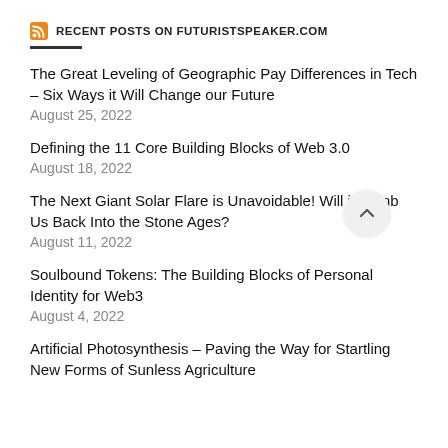RECENT POSTS ON FUTURISTSPEAKER.COM
The Great Leveling of Geographic Pay Differences in Tech – Six Ways it Will Change our Future
August 25, 2022
Defining the 11 Core Building Blocks of Web 3.0
August 18, 2022
The Next Giant Solar Flare is Unavoidable! Will it Bomb Us Back Into the Stone Ages?
August 11, 2022
Soulbound Tokens: The Building Blocks of Personal Identity for Web3
August 4, 2022
Artificial Photosynthesis – Paving the Way for Startling New Forms of Sunless Agriculture